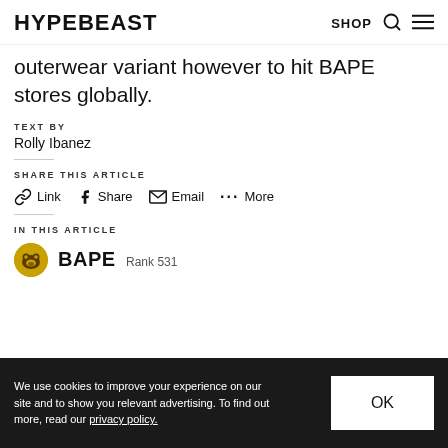HYPEBEAST  SHOP
outerwear variant however to hit BAPE stores globally.
TEXT BY
Rolly Ibanez
SHARE THIS ARTICLE
Link  Share  Email  More
IN THIS ARTICLE
BAPE  Rank 531
We use cookies to improve your experience on our site and to show you relevant advertising. To find out more, read our privacy policy.